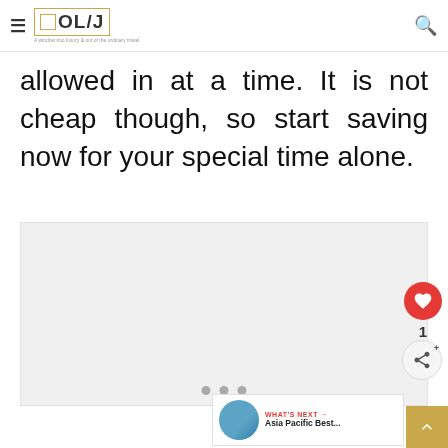OL/J — A window into luxury & out of the ordinary travel
allowed in at a time. It is not cheap though, so start saving now for your special time alone.
[Figure (photo): Image placeholder — travel photo carousel with three navigation dots]
WHAT'S NEXT → Asia Pacific Best...